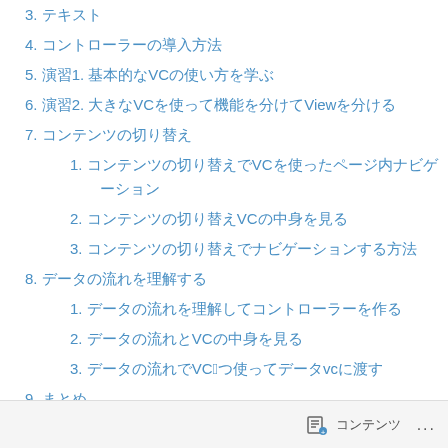3. テキスト
4. コントローラーの導入方法
5. 演習1. 基本的なVCの使い方を学ぶ
6. 演習2. 大きなVCを使って機能を分けてViewを分ける
7. コンテンツの切り替え
1. コンテンツの切り替えでVCを使ったページ内ナビゲーション
2. コンテンツの切り替えVCの中身を見る
3. コンテンツの切り替えでナビゲーションする方法
8. データの流れを理解する
1. データの流れを理解してコントローラーを作る
2. データの流れとVCの中身を見る
3. データの流れでVC〉2つ使ってデータVCに渡す
9. まとめ
1. まとめなVC
2. まとめなVC